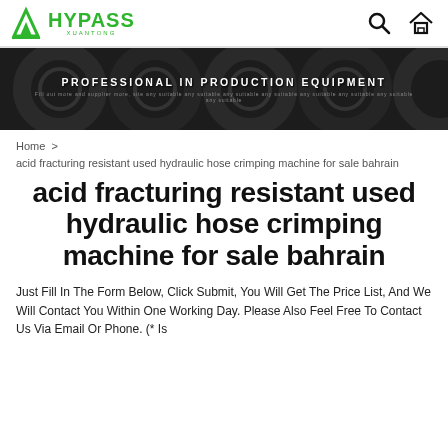HYPASS XUANTONG [logo with search and home icons]
[Figure (photo): Dark industrial banner showing cylindrical pipes/tubes with text overlay: PROFESSIONAL IN PRODUCTION EQUIPMENT and smaller subtitle text]
Home > acid fracturing resistant used hydraulic hose crimping machine for sale bahrain
acid fracturing resistant used hydraulic hose crimping machine for sale bahrain
Just Fill In The Form Below, Click Submit, You Will Get The Price List, And We Will Contact You Within One Working Day. Please Also Feel Free To Contact Us Via Email Or Phone. (* Is